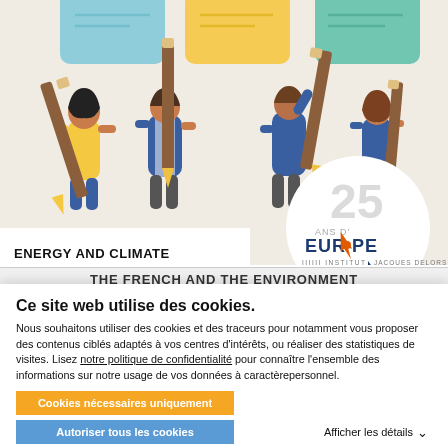[Figure (illustration): Illustration of four people holding large pencils with colorful sticky notes (blue, yellow, green) in the background on a beige surface. Institut Jacques Delors 25 ans d'Europe logo circle overlaid on the right side.]
ENERGY AND CLIMATE
THE FRENCH AND THE ENVIRONMENT (partially visible heading)
Ce site web utilise des cookies.
Nous souhaitons utiliser des cookies et des traceurs pour notamment vous proposer des contenus ciblés adaptés à vos centres d'intérêts, ou réaliser des statistiques de visites. Lisez notre politique de confidentialité pour connaître l'ensemble des informations sur notre usage de vos données à caractèrepersonnel.
Cookies nécessaires uniquement
Autoriser tous les cookies
Afficher les détails